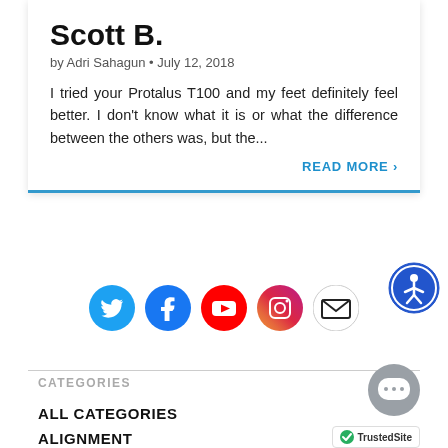Scott B.
by Adri Sahagun • July 12, 2018
I tried your Protalus T100 and my feet definitely feel better. I don't know what it is or what the difference between the others was, but the...
READ MORE ›
[Figure (other): Social media icons row: Twitter, Facebook, YouTube, Instagram, Email]
[Figure (other): Accessibility icon button]
CATEGORIES
ALL CATEGORIES
ALIGNMENT
ANKLE PAIN
ATHLETE
BACK PAIN
[Figure (other): Chat bubble button with ...]
[Figure (other): TrustedSite badge]